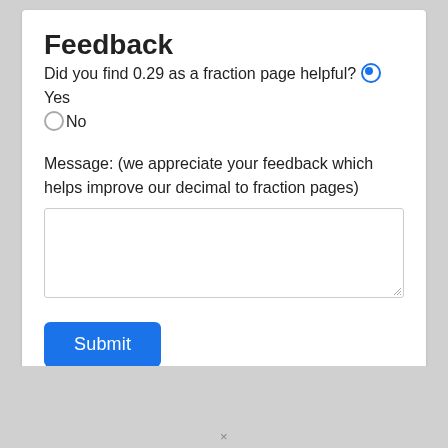Feedback
Did you find 0.29 as a fraction page helpful? ●Yes ○No
Message: (we appreciate your feedback which helps improve our decimal to fraction pages)
[textarea input box]
Submit